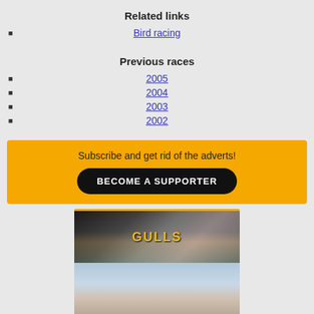Related links
Bird racing
Previous races
2005
2004
2003
2002
Subscribe and get rid of the adverts! BECOME A SUPPORTER
[Figure (photo): Book cover and image for Gulls of Europe, North Africa,...]